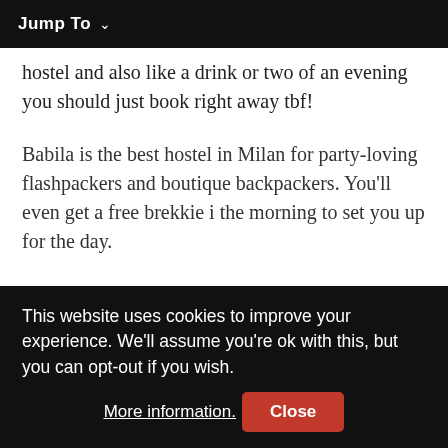Jump To ∨
hostel and also like a drink or two of an evening you should just book right away tbf!
Babila is the best hostel in Milan for party-loving flashpackers and boutique backpackers. You'll even get a free brekkie i the morning to set you up for the day.
Why you'll love this hostel:
Historic Building
This website uses cookies to improve your experience. We'll assume you're ok with this, but you can opt-out if you wish. More information. Close